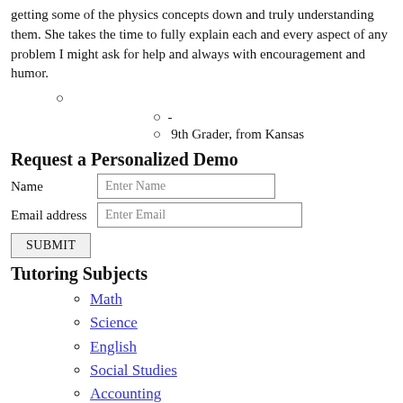getting some of the physics concepts down and truly understanding them. She takes the time to fully explain each and every aspect of any problem I might ask for help and always with encouragement and humor.
○
○  -
○  9th Grader, from Kansas
Request a Personalized Demo
Name  [Enter Name]
Email address  [Enter Email]
[SUBMIT]
Tutoring Subjects
Math
Science
English
Social Studies
Accounting
Economics